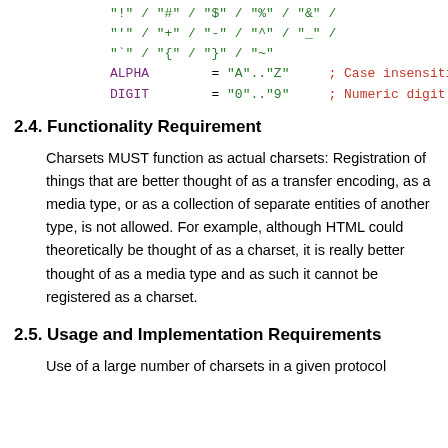"!" / "#" / "$" / "%" / "&" /
"'" / "+" / "-" / "^" / "_" /
"`" / "{" / "}" / "~"
ALPHA = "A".."Z" ; Case insensitive
DIGIT = "0".."9" ; Numeric digit
2.4. Functionality Requirement
Charsets MUST function as actual charsets: Registration of things that are better thought of as a transfer encoding, as a media type, or as a collection of separate entities of another type, is not allowed. For example, although HTML could theoretically be thought of as a charset, it is really better thought of as a media type and as such it cannot be registered as a charset.
2.5. Usage and Implementation Requirements
Use of a large number of charsets in a given protocol